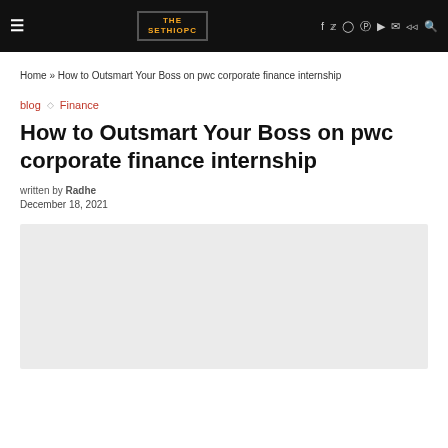THE SETHIOPC
Home » How to Outsmart Your Boss on pwc corporate finance internship
blog ◇ Finance
How to Outsmart Your Boss on pwc corporate finance internship
written by Radhe
December 18, 2021
[Figure (photo): Light gray image placeholder for article featured image]